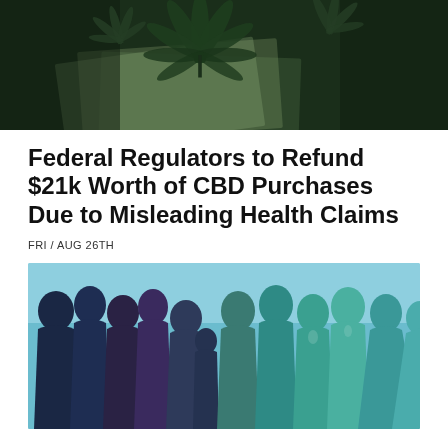[Figure (photo): Cannabis leaf on top of US dollar bills, dark green background]
Federal Regulators to Refund $21k Worth of CBD Purchases Due to Misleading Health Claims
FRI / AUG 26TH
[Figure (illustration): Silhouettes of diverse group of people in shades of dark blue, purple, teal, and green against a light blue background]